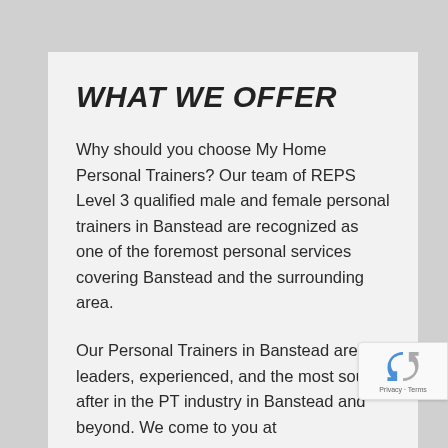WHAT WE OFFER
Why should you choose My Home Personal Trainers? Our team of REPS Level 3 qualified male and female personal trainers in Banstead are recognized as one of the foremost personal services covering Banstead and the surrounding area.
Our Personal Trainers in Banstead are leaders, experienced, and the most sought after in the PT industry in Banstead and beyond. We come to you at